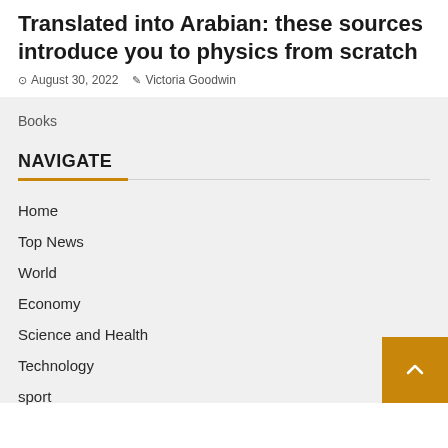Translated into Arabian: these sources introduce you to physics from scratch
August 30, 2022  Victoria Goodwin
Books
NAVIGATE
Home
Top News
World
Economy
Science and Health
Technology
sport